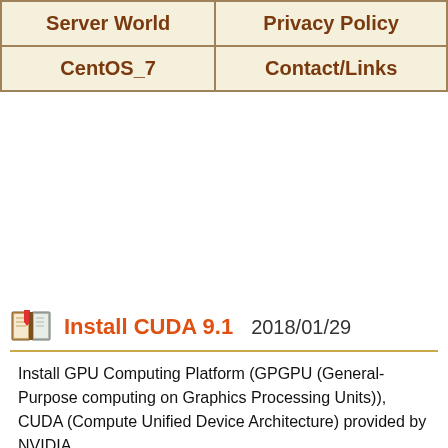| Server World | Privacy Policy |
| CentOS_7 | Contact/Links |
Install CUDA 9.1   2018/01/29
Install GPU Computing Platform (GPGPU (General-Purpose computing on Graphics Processing Units)), CUDA (Compute Unified Device Architecture) provided by NVIDIA.
To use CUDA, it needs your computer has NVIDIA